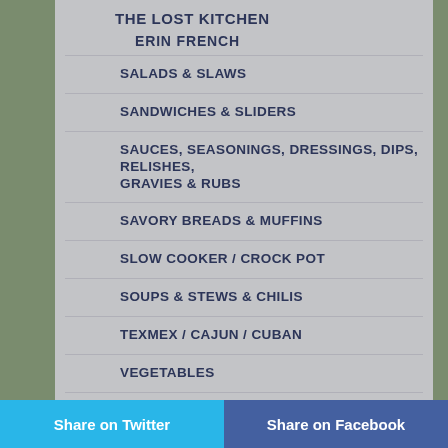THE LOST KITCHEN
ERIN FRENCH
SALADS & SLAWS
SANDWICHES & SLIDERS
SAUCES, SEASONINGS, DRESSINGS, DIPS, RELISHES, GRAVIES & RUBS
SAVORY BREADS & MUFFINS
SLOW COOKER / CROCK POT
SOUPS & STEWS & CHILIS
TEXMEX / CAJUN / CUBAN
VEGETABLES
BEANS
Share on Twitter    Share on Facebook